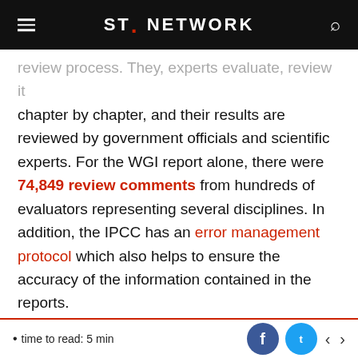ST. NETWORK
review process. They, experts evaluate, review it chapter by chapter, and their results are reviewed by government officials and scientific experts. For the WGI report alone, there were 74,849 review comments from hundreds of evaluators representing several disciplines. In addition, the IPCC has an error management protocol which also helps to ensure the accuracy of the information contained in the reports.
A very important aspect is that the involvement of experts delegated by governments only takes place in the review stage, therefore they cannot
time to read: 5 min